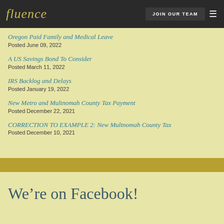fluence | JOIN OUR TEAM
Oregon Paid Family and Medical Leave
Posted June 09, 2022
A US Savings Bond To Consider
Posted March 11, 2022
IRS Backlog and Delays
Posted January 19, 2022
New Metro and Multnomah County Tax Payment
Posted December 22, 2021
CORRECTION TO EXAMPLE 2: New Multnomah County Tax
Posted December 10, 2021
We’re on Facebook!